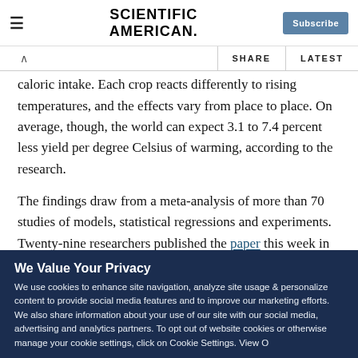SCIENTIFIC AMERICAN
caloric intake. Each crop reacts differently to rising temperatures, and the effects vary from place to place. On average, though, the world can expect 3.1 to 7.4 percent less yield per degree Celsius of warming, according to the research.
The findings draw from a meta-analysis of more than 70 studies of models, statistical regressions and experiments. Twenty-nine researchers published the paper this week in
We Value Your Privacy
We use cookies to enhance site navigation, analyze site usage & personalize content to provide social media features and to improve our marketing efforts. We also share information about your use of our site with our social media, advertising and analytics partners. To opt out of website cookies or otherwise manage your cookie settings, click on Cookie Settings. View O